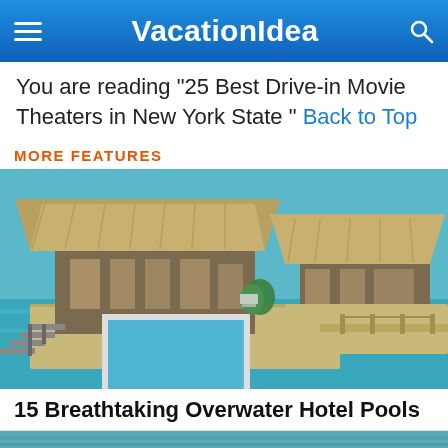VacationIdea
You are reading "25 Best Drive-in Movie Theaters in New York State " Back to Top
MORE FEATURES
[Figure (photo): Aerial view of overwater bungalows with thatched roofs, a private infinity pool/plunge pool on a deck, wooden stairs leading into turquoise water, lush tropical setting.]
15 Breathtaking Overwater Hotel Pools
[Figure (photo): Partial bottom image strip, appears to be another travel feature photo.]